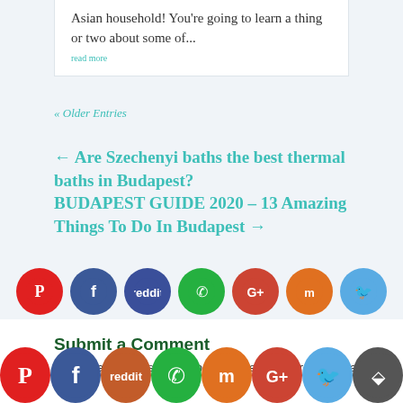Asian household! You're going to learn a thing or two about some of...
read more
« Older Entries
← Are Szechenyi baths the best thermal baths in Budapest?
BUDAPEST GUIDE 2020 – 13 Amazing Things To Do In Budapest →
[Figure (infographic): Row of 7 social media share icons: Pinterest (red), Facebook (dark blue), Reddit (blue-dark), WhatsApp (green), Google+ (orange-red), Mix (orange), Twitter (blue)]
Submit a Comment
Your email address will not be published. Required fields are
[Figure (infographic): Bottom social sharing bar with 8 icons: Pinterest (red), Facebook (dark blue), Reddit (orange-red), WhatsApp (green), Mix (orange), Google+ (red), Twitter (blue), Share (dark)]